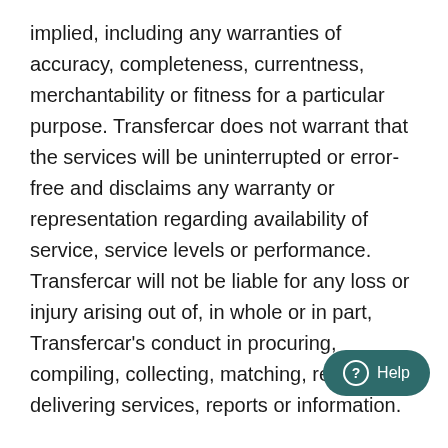implied, including any warranties of accuracy, completeness, currentness, merchantability or fitness for a particular purpose. Transfercar does not warrant that the services will be uninterrupted or error-free and disclaims any warranty or representation regarding availability of service, service levels or performance. Transfercar will not be liable for any loss or injury arising out of, in whole or in part, Transfercar's conduct in procuring, compiling, collecting, matching, reporting or delivering services, reports or information.
4. Validate and update information
4.1 Transfercar reserves the right to validate and update all information provided to Transfercar by